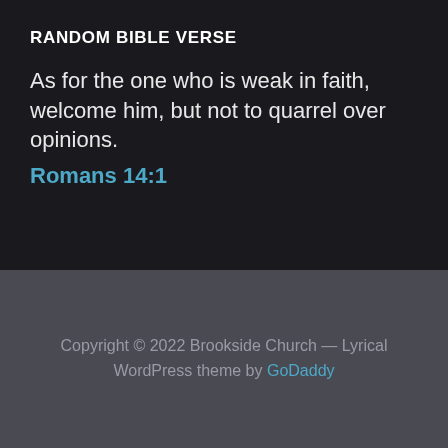RANDOM BIBLE VERSE
As for the one who is weak in faith, welcome him, but not to quarrel over opinions.
Romans 14:1
Copyright © 2022 Brookside Church — Lyrical WordPress theme by GoDaddy